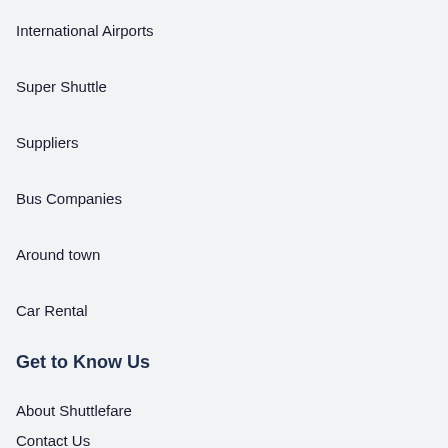International Airports
Super Shuttle
Suppliers
Bus Companies
Around town
Car Rental
Get to Know Us
About Shuttlefare
Contact Us